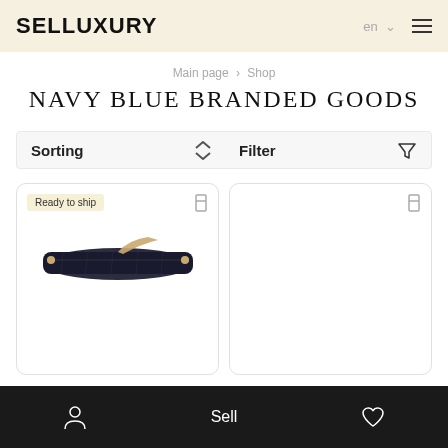SELLUXURY
Main page > Shop
NAVY BLUE BRANDED GOODS
Sorting  Filter
[Figure (photo): Product card with 'Ready to ship' badge showing a dark navy blue clutch/wallet on white background]
[Figure (photo): Empty product card with bookmark icon]
Sell